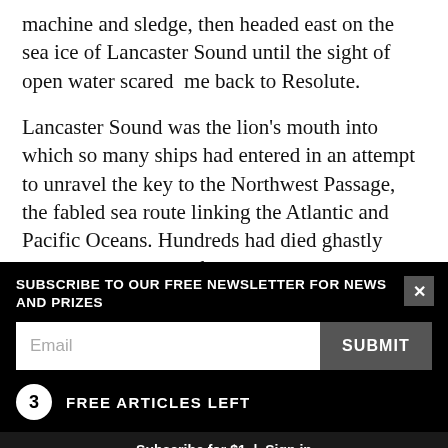machine and sledge, then headed east on the sea ice of Lancaster Sound until the sight of open water scared  me back to Resolute.
Lancaster Sound was the lion's mouth into which so many ships had entered in an attempt to unravel the key to the Northwest Passage, the fabled sea route linking the Atlantic and Pacific Oceans. Hundreds had died ghastly deaths at the hands of the ice and malnutrition before that polar genius Roald Amundsen finally navigated the small ship Gjoa through the Passage between 1903 and 1906.Ighty–
SUBSCRIBE TO OUR FREE NEWSLETTER FOR NEWS AND PRIZES
Email
SUBMIT
3 FREE ARTICLES LEFT
Subscribe for $1 | Sign in